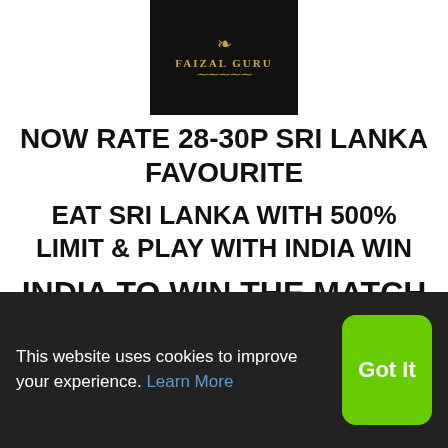[Figure (logo): Faizal Guru logo — dark background with golden ornamental text reading FAIZAL GURU]
NOW RATE 28-30P SRI LANKA FAVOURITE
EAT SRI LANKA WITH 500% LIMIT & PLAY WITH INDIA WIN
INDIA TO WIN THE MATCH
This website uses cookies to improve your experience. Learn More